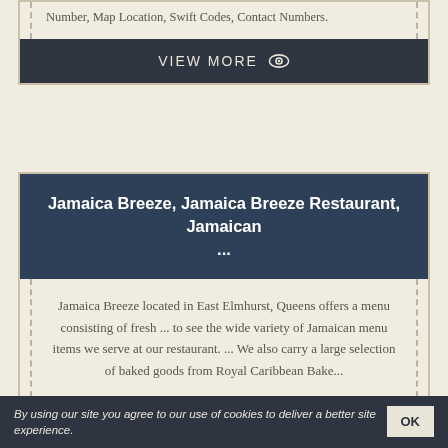Number, Map Location, Swift Codes, Contact Numbers.
VIEW MORE
Jamaica Breeze, Jamaica Breeze Restaurant, Jamaican ...
Jamaica Breeze located in East Elmhurst, Queens offers a menu consisting of fresh ... to see the wide variety of Jamaican menu items we serve at our restaurant. ... We also carry a large selection of baked goods from Royal Caribbean Bake...
VIEW MORE
By using our site you agree to our use of cookies to deliver a better site experience.